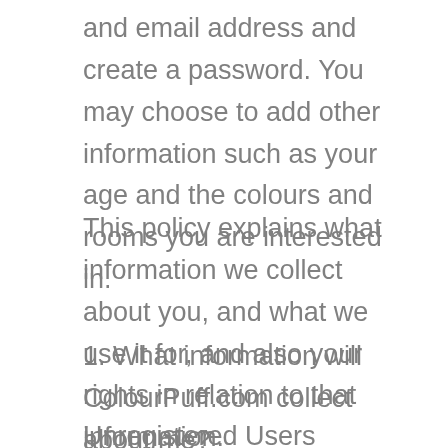and email address and create a password. You may choose to add other information such as your age and the colours and rooms you are interested in.
This policy explains what information we collect about you, and what we use it for, and also your rights in relation to that information.
1. What information will ColourPuff.com collect about me?
Unregistered Users